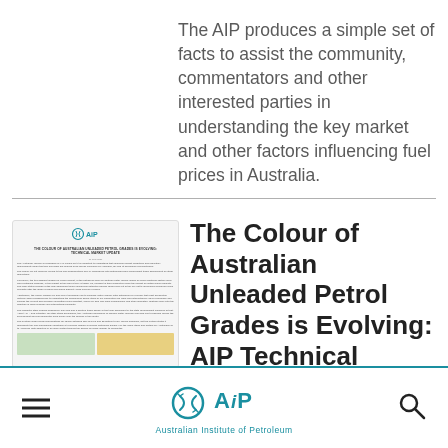The AIP produces a simple set of facts to assist the community, commentators and other interested parties in understanding the key market and other factors influencing fuel prices in Australia.
[Figure (illustration): Thumbnail of an AIP document titled 'The Colour of Australian Unleaded Petrol Grades is Evolving: AIP Technical Market Brief' with AIP logo and body text, plus two small images at the bottom showing fuel station images.]
The Colour of Australian Unleaded Petrol Grades is Evolving: AIP Technical
[Figure (logo): Australian Institute of Petroleum (AIP) logo with teal circular arrow icon and stylized 'AiP' text, below which reads 'Australian Institute of Petroleum']